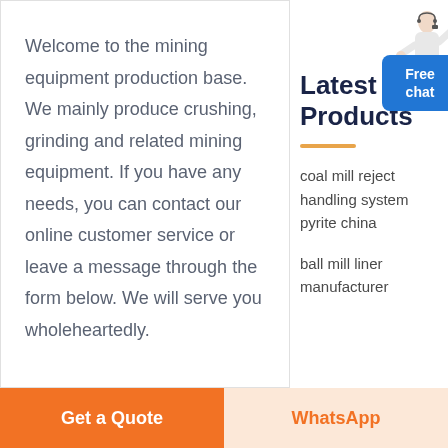Welcome to the mining equipment production base. We mainly produce crushing, grinding and related mining equipment. If you have any needs, you can contact our online customer service or leave a message through the form below. We will serve you wholeheartedly.
Latest Products
[Figure (illustration): Person in white jacket with headset, pointing, representing customer service agent]
[Figure (infographic): Blue rounded rectangle button labeled 'Free chat']
coal mill reject handling system pyrite china
ball mill liner manufacturer
Get a Quote
WhatsApp